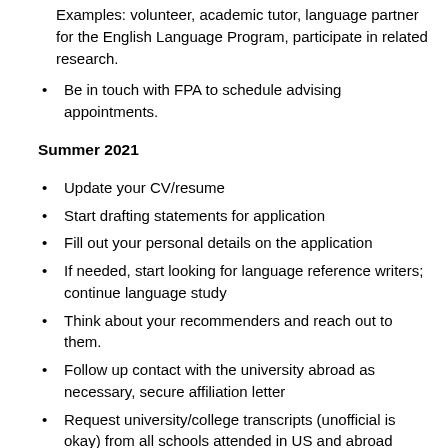Examples: volunteer, academic tutor, language partner for the English Language Program, participate in related research.
Be in touch with FPA to schedule advising appointments.
Summer 2021
Update your CV/resume
Start drafting statements for application
Fill out your personal details on the application
If needed, start looking for language reference writers; continue language study
Think about your recommenders and reach out to them.
Follow up contact with the university abroad as necessary, secure affiliation letter
Request university/college transcripts (unofficial is okay) from all schools attended in US and abroad